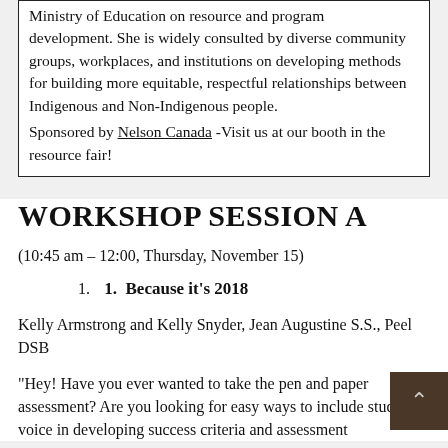Ministry of Education on resource and program development. She is widely consulted by diverse community groups, workplaces, and institutions on developing methods for building more equitable, respectful relationships between Indigenous and Non-Indigenous people.
Sponsored by Nelson Canada -Visit us at our booth in the resource fair!
WORKSHOP SESSION A
(10:45 am – 12:00, Thursday, November 15)
1.  Because it's 2018
Kelly Armstrong and Kelly Snyder, Jean Augustine S.S., Peel DSB
“Hey! Have you ever wanted to take the pen and paper assessment? Are you looking for easy ways to include student voice in developing success criteria and assessment